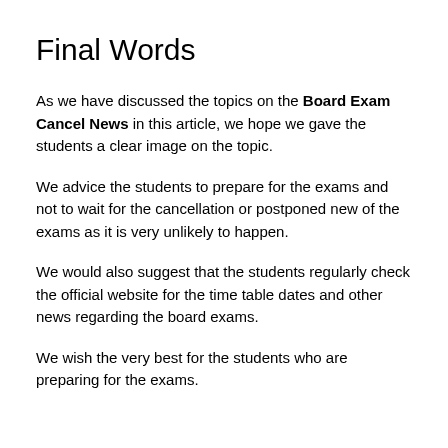Final Words
As we have discussed the topics on the Board Exam Cancel News in this article, we hope we gave the students a clear image on the topic.
We advice the students to prepare for the exams and not to wait for the cancellation or postponed new of the exams as it is very unlikely to happen.
We would also suggest that the students regularly check the official website for the time table dates and other news regarding the board exams.
We wish the very best for the students who are preparing for the exams.